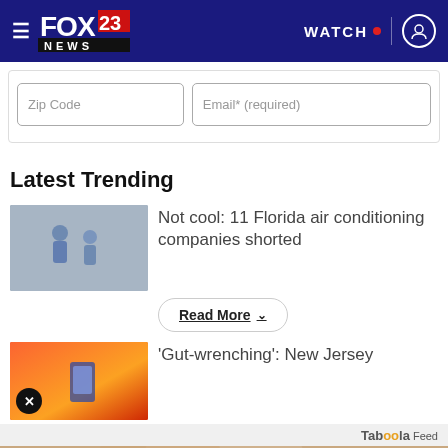[Figure (logo): FOX23 NEWS logo in header with navigation bar showing WATCH button and user icon]
[Figure (other): Form section with Zip Code and Email* (required) input fields]
Latest Trending
[Figure (photo): Thumbnail image of people, for article about Florida air conditioning companies]
Not cool: 11 Florida air conditioning companies shorted
Read More
[Figure (photo): Thumbnail image with fire/orange tones for New Jersey article]
'Gut-wrenching': New Jersey
Taboola Feed